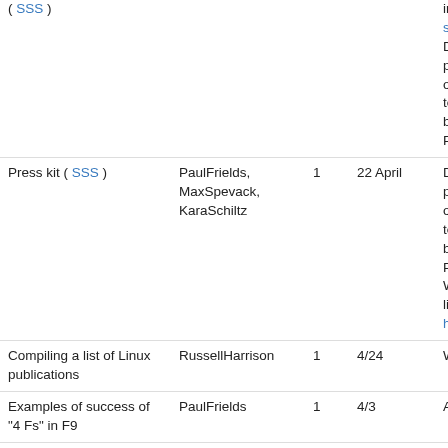| Task | Owner | Priority | Deadline | Notes |
| --- | --- | --- | --- | --- |
| ( SSS ) |  |  |  | instructio source pa DONE -- L press kit a one-shee to all me be intervi PaulFrield We now h list of pre here . |
| Press kit ( SSS ) | PaulFrields, MaxSpevack, KaraSchiltz | 1 | 22 April | DONE -- L press kit a one-shee to all me be intervi PaulFrield We now h list of pre here . |
| Compiling a list of Linux publications | RussellHarrison | 1 | 4/24 | We now h list of pre here . |
| Examples of success of "4 Fs" in F9 | PaulFrields | 1 | 4/3 | All done. |
| Wiki Tutorial for Raleigh folks | MaxSpevack | 2 | 3/27/2008 | Good for |
| Gathering metrics for mktg purposes | MaxSpevack | 1 | 4/3 | The Statis will be up all of the interestin we have, linked fro |